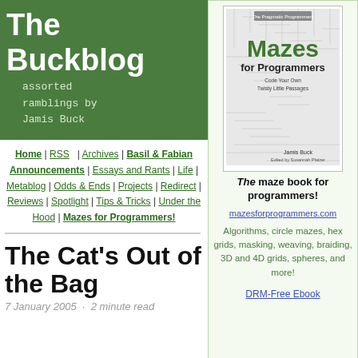The Buckblog
assorted ramblings by Jamis Buck
Home | RSS | Archives | Basil & Fabian Announcements | Essays and Rants | Life | Metablog | Odds & Ends | Projects | Redirect | Reviews | Spotlight | Tips & Tricks | Under the Hood | Mazes for Programmers!
[Figure (illustration): Book cover for 'Mazes for Programmers' by Jamis Buck, published by Pragmatic Programmers. White cover with maze pattern and green title text.]
The maze book for programmers!
mazesforprogrammers.com
Algorithms, circle mazes, hex grids, masking, weaving, braiding, 3D and 4D grids, spheres, and more!
DRM-Free Ebook
The Cat's Out of the Bag
7 January 2005 · 2 minute read